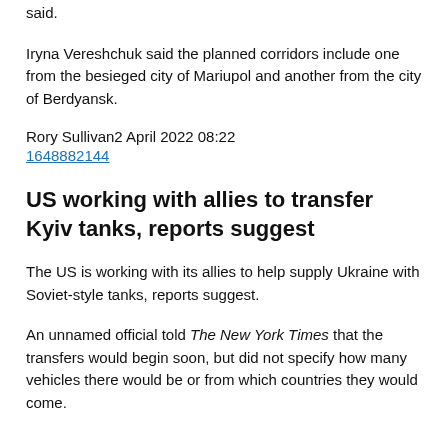said.
Iryna Vereshchuk said the planned corridors include one from the besieged city of Mariupol and another from the city of Berdyansk.
Rory Sullivan2 April 2022 08:22
1648882144
US working with allies to transfer Kyiv tanks, reports suggest
The US is working with its allies to help supply Ukraine with Soviet-style tanks, reports suggest.
An unnamed official told The New York Times that the transfers would begin soon, but did not specify how many vehicles there would be or from which countries they would come.